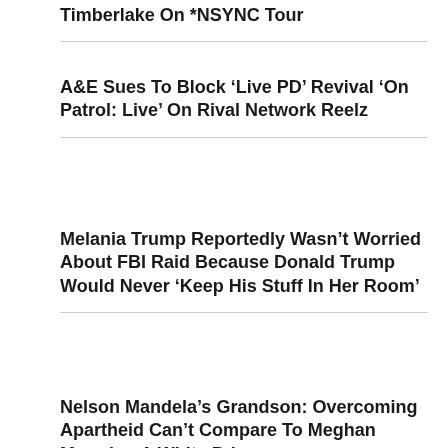Timberlake On *NSYNC Tour
A&E Sues To Block 'Live PD' Revival 'On Patrol: Live' On Rival Network Reelz
Melania Trump Reportedly Wasn't Worried About FBI Raid Because Donald Trump Would Never 'Keep His Stuff In Her Room'
Nelson Mandela's Grandson: Overcoming Apartheid Can't Compare To Meghan Marrying A White Prince